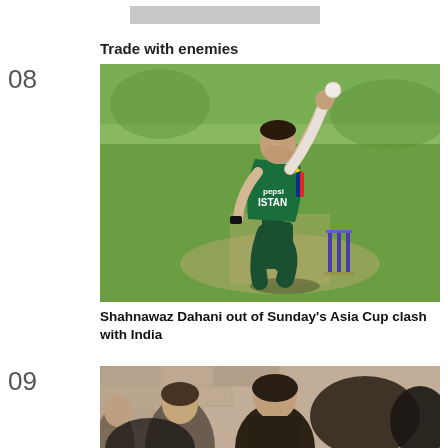[Figure (other): Gray advertisement bar at top]
Trade with enemies
08
[Figure (photo): Shahnawaz Dahani, Pakistan cricket bowler in green Pakistan kit, mid-bowling action with arm raised high and cricket ball visible, stumps in background, green outfield behind]
Shahnawaz Dahani out of Sunday's Asia Cup clash with India
09
[Figure (photo): Partially visible photo showing people including women in dark clothing, stone/brick wall background, blurred foreground]